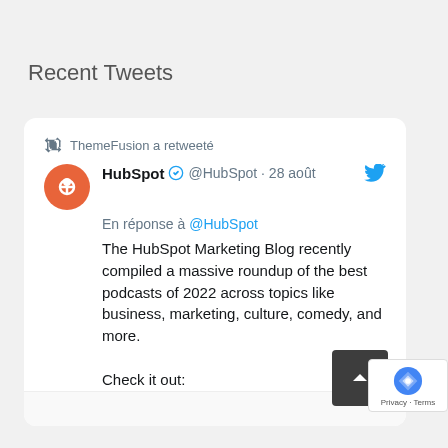Recent Tweets
ThemeFusion a retweeté
HubSpot ✓ @HubSpot · 28 août
En réponse à @HubSpot
The HubSpot Marketing Blog recently compiled a massive roundup of the best podcasts of 2022 across topics like business, marketing, culture, comedy, and more.

Check it out:
blog.hubspot.com/marketing/podc